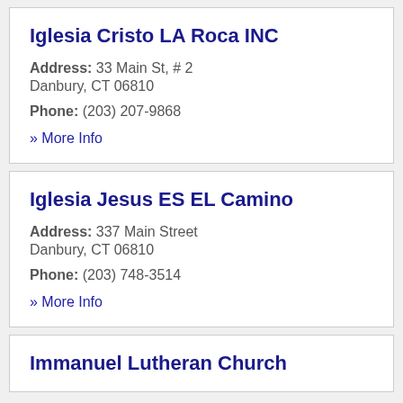Iglesia Cristo LA Roca INC
Address: 33 Main St, # 2
Danbury, CT 06810
Phone: (203) 207-9868
» More Info
Iglesia Jesus ES EL Camino
Address: 337 Main Street
Danbury, CT 06810
Phone: (203) 748-3514
» More Info
Immanuel Lutheran Church